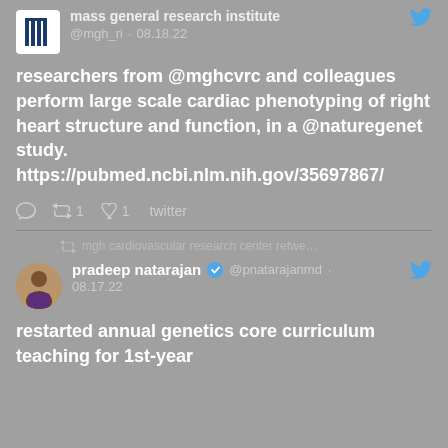[Figure (screenshot): Twitter/social media feed screenshot showing tweets from MGH Research Institute and Pradeep Natarajan about cardiac phenotyping research and genetics curriculum]
@mgh_ri · 08.18.22
researchers from @mghcvrc and colleagues perform large scale cardiac phenotyping of right heart structure and function, in a @naturegenet study. https://pubmed.ncbi.nlm.nih.gov/35697867/
↩1  ♡1  twitter
mgh cardiovascular research center retwe…
pradeep natarajan @pnatarajanmd · 08.17.22
restarted annual genetics core curriculum teaching for 1st-year